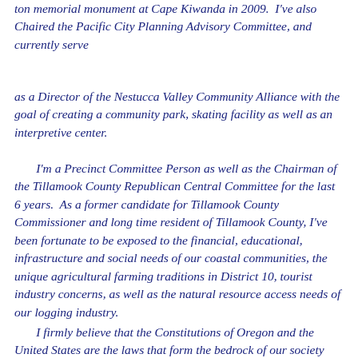ton memorial monument at Cape Kiwanda in 2009.  I've also Chaired the Pacific City Planning Advisory Committee, and currently serve
as a Director of the Nestucca Valley Community Alliance with the goal of creating a community park, skating facility as well as an interpretive center.
I'm a Precinct Committee Person as well as the Chairman of the Tillamook County Republican Central Committee for the last 6 years.  As a former candidate for Tillamook County Commissioner and long time resident of Tillamook County, I've been fortunate to be exposed to the financial, educational, infrastructure and social needs of our coastal communities, the unique agricultural farming traditions in District 10, tourist industry concerns, as well as the natural resource access needs of our logging industry.
I firmly believe that the Constitutions of Oregon and the United States are the laws that form the bedrock of our society